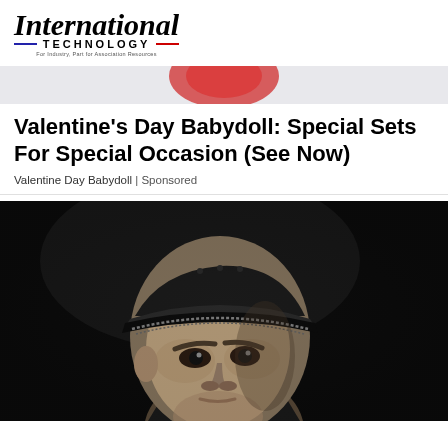International TECHNOLOGY
[Figure (other): Advertisement banner with partial red circular logo on light gray background]
Valentine's Day Babydoll: Special Sets For Special Occasion (See Now)
Valentine Day Babydoll | Sponsored
[Figure (photo): Black and white portrait photograph of a man wearing a military cap, looking upward at an angle]